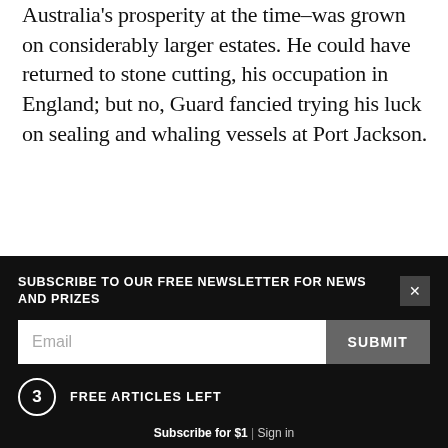Australia's prosperity at the time–was grown on considerably larger estates. He could have returned to stone cutting, his occupation in England; but no, Guard fancied trying his luck on sealing and whaling vessels at Port Jackson.
*
GUARD FLOURISHED AT sea. By the mid-1820s, with ruddy face and black beard, John Guard the stonecutter became Captain Jacky, the sealer. He was strong enough, it was claimed, to have picked up
SUBSCRIBE TO OUR FREE NEWSLETTER FOR NEWS AND PRIZES
Email
SUBMIT
3 FREE ARTICLES LEFT
Subscribe for $1 | Sign in